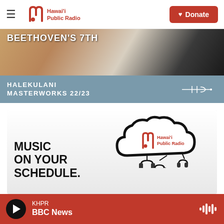Hawai'i Public Radio — Donate
[Figure (illustration): Halekulani Masterworks 22/23 banner ad with orchestra imagery and HFO logo]
[Figure (illustration): Hawai'i Public Radio cloud logo with headphones illustration and text 'MUSIC ON YOUR SCHEDULE.']
KHPR — BBC News (player bar with play button and waveform icon)